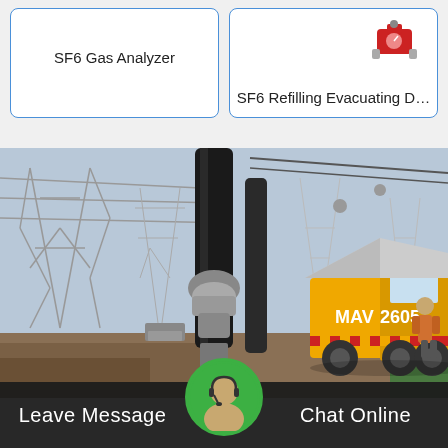SF6 Gas Analyzer
SF6 Refilling Evacuating D…
[Figure (photo): Outdoor electrical substation with high-voltage equipment, large cable/conduit, and a yellow service truck (MAV 2605) parked nearby. Workers visible near the truck.]
Leave Message
Chat Online